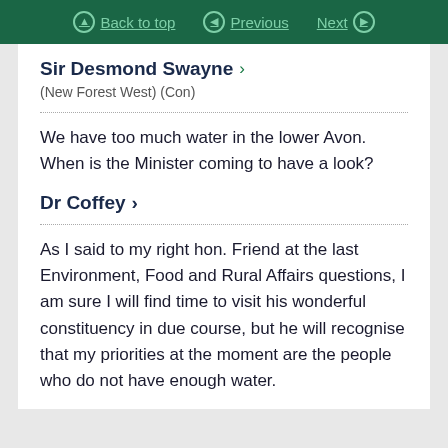Back to top | Previous | Next
Sir Desmond Swayne
(New Forest West) (Con)
We have too much water in the lower Avon. When is the Minister coming to have a look?
Dr Coffey
As I said to my right hon. Friend at the last Environment, Food and Rural Affairs questions, I am sure I will find time to visit his wonderful constituency in due course, but he will recognise that my priorities at the moment are the people who do not have enough water.